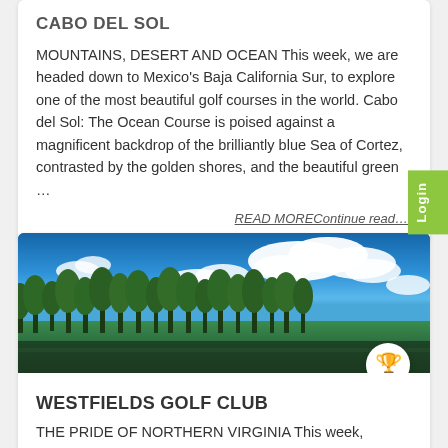CABO DEL SOL
MOUNTAINS, DESERT AND OCEAN This week, we are headed down to Mexico's Baja California Sur, to explore one of the most beautiful golf courses in the world. Cabo del Sol: The Ocean Course is poised against a magnificent backdrop of the brilliantly blue Sea of Cortez, contrasted by the golden shores, and the beautiful green …
READ MOREContinue read…
[Figure (photo): Panoramic photo of a golf course with tall trees against a bright blue sky with white clouds]
WESTFIELDS GOLF CLUB
THE PRIDE OF NORTHERN VIRGINIA This week, TruGolf will profile the finest golf course in northern Virginia. Westfields Golf Club …